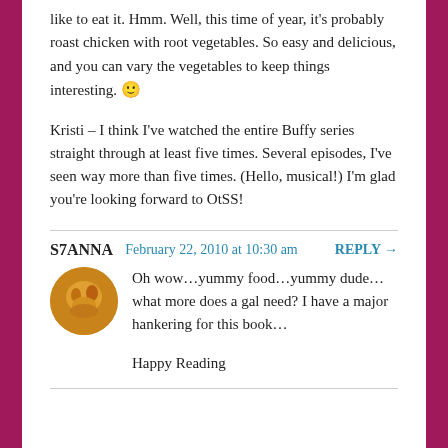like to eat it. Hmm. Well, this time of year, it's probably roast chicken with root vegetables. So easy and delicious, and you can vary the vegetables to keep things interesting. 🙂
Kristi – I think I've watched the entire Buffy series straight through at least five times. Several episodes, I've seen way more than five times. (Hello, musical!) I'm glad you're looking forward to OtSS!
S7ANNA
February 22, 2010 at 10:30 am
REPLY →
Oh wow…yummy food…yummy dude…what more does a gal need? I have a major hankering for this book…
Happy Reading